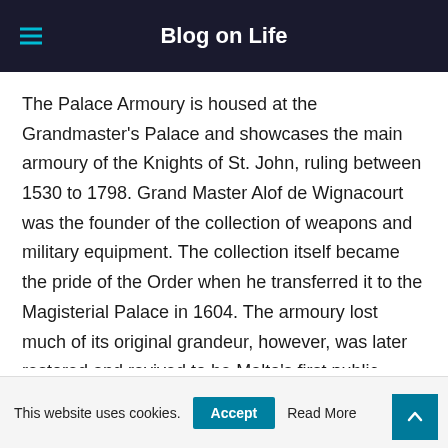Blog on Life
The Palace Armoury is housed at the Grandmaster's Palace and showcases the main armoury of the Knights of St. John, ruling between 1530 to 1798. Grand Master Alof de Wignacourt was the founder of the collection of weapons and military equipment. The collection itself became the pride of the Order when he transferred it to the Magisterial Palace in 1604. The armoury lost much of its original grandeur, however, was later restored and revived to be Malta's first public museum in 1860.
This website uses cookies. Accept Read More